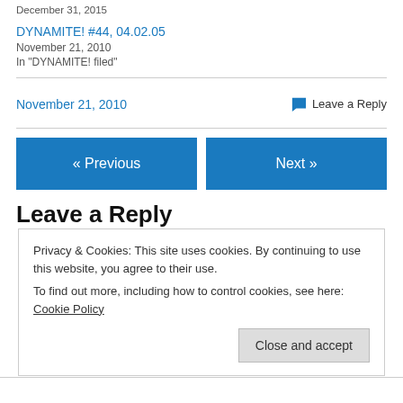December 31, 2015
DYNAMITE! #44, 04.02.05
November 21, 2010
In "DYNAMITE! filed"
November 21, 2010
Leave a Reply
« Previous
Next »
Leave a Reply
Privacy & Cookies: This site uses cookies. By continuing to use this website, you agree to their use.
To find out more, including how to control cookies, see here: Cookie Policy
Close and accept